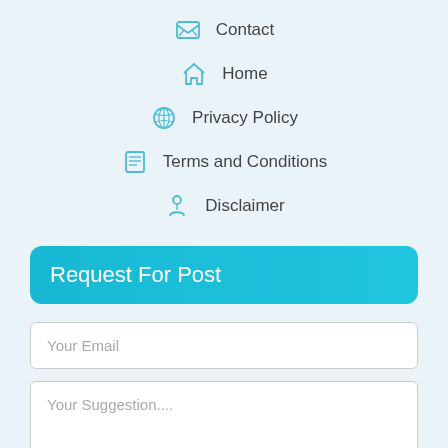Contact
Home
Privacy Policy
Terms and Conditions
Disclaimer
Request For Post
Your Email
Your Suggestion....
REQUEST